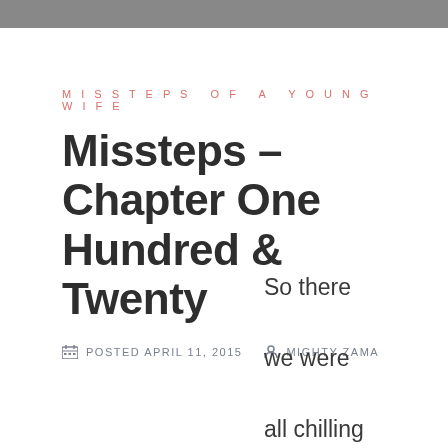MISSTEPS OF A YOUNG WIFE
Missteps – Chapter One Hundred & Twenty
POSTED APRIL 11, 2015   MIGHTY ZAMA
So there we were all chilling